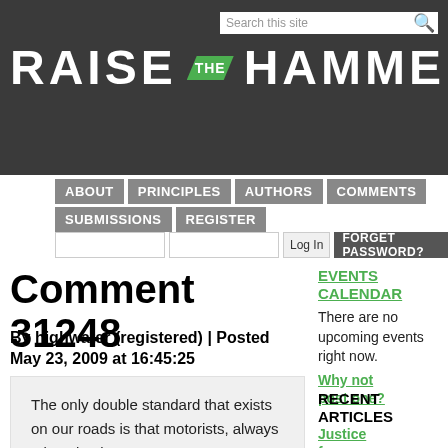RAISE THE HAMMER
Search this site
ABOUT | PRINCIPLES | AUTHORS | COMMENTS | SUBMISSIONS | REGISTER
Log In | FORGET PASSWORD?
Comment 31248
By highwater (registered) | Posted May 23, 2009 at 16:45:25
The only double standard that exists on our roads is that motorists, always take a backseat
EVENTS CALENDAR
There are no upcoming events right now.
Why not post one?
RECENT ARTICLES
Justice for